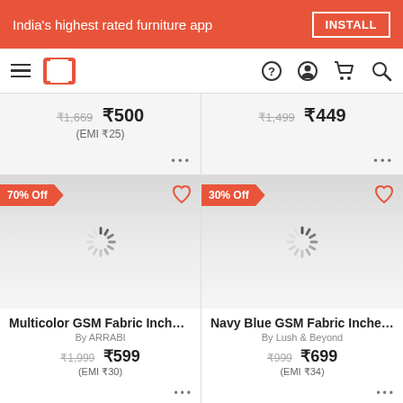India's highest rated furniture app | INSTALL
[Figure (screenshot): Navigation bar with hamburger menu, Pepperfry logo, help, profile, cart and search icons]
₹1,669  ₹500  (EMI ₹25)
₹1,499  ₹449
70% Off  Multicolor GSM Fabric Inches T...  By ARRABI  ₹1,999  ₹599  (EMI ₹30)
30% Off  Navy Blue GSM Fabric Inches T...  By Lush & Beyond  ₹999  ₹699  (EMI ₹34)